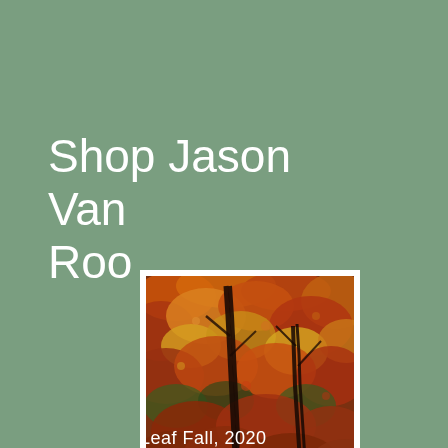Shop Jason Van Roo
[Figure (illustration): A painting depicting autumn trees with dense orange, red, and yellow foliage, with dark tree trunks visible against the warm-colored leaves. The painting has an impressionistic style with rich earth tones.]
Leaf Fall, 2020